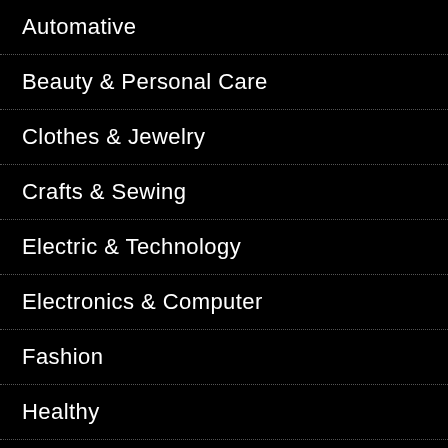Automative
Beauty & Personal Care
Clothes & Jewelry
Crafts & Sewing
Electric & Technology
Electronics & Computer
Fashion
Healthy
Home & Kitchen